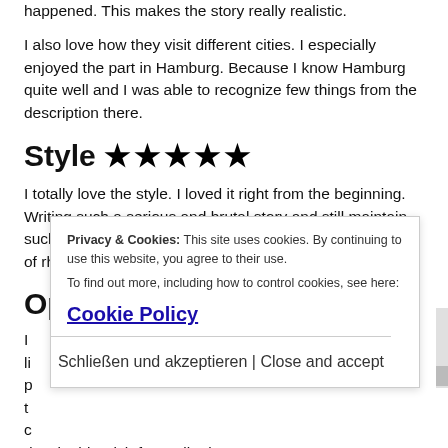happened. This makes the story really realistic.
I also love how they visit different cities. I especially enjoyed the part in Hamburg. Because I know Hamburg quite well and I was able to recognize few things from the description there.
Style ★★★★★
I totally love the style. I loved it right from the beginning. Writing such a serious and brutal story and still maintain such a humorous style – just brilliant. Also I love the use of rhetorical devices.
Opinion after reading
I ... l... p... t... c... despite his wish for retribution.
Privacy & Cookies: This site uses cookies. By continuing to use this website, you agree to their use.
To find out more, including how to control cookies, see here:
Cookie Policy
Schließen und akzeptieren | Close and accept